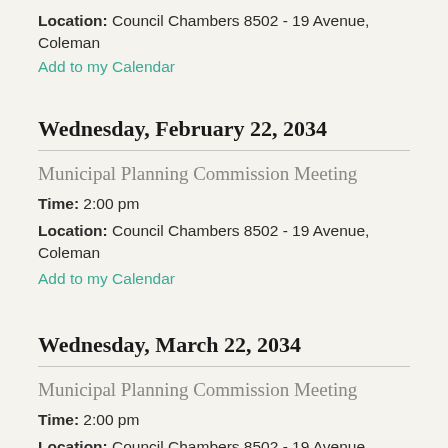Location: Council Chambers 8502 - 19 Avenue, Coleman
Add to my Calendar
Wednesday, February 22, 2034
Municipal Planning Commission Meeting
Time: 2:00 pm
Location: Council Chambers 8502 - 19 Avenue, Coleman
Add to my Calendar
Wednesday, March 22, 2034
Municipal Planning Commission Meeting
Time: 2:00 pm
Location: Council Chambers 8502 - 19 Avenue,